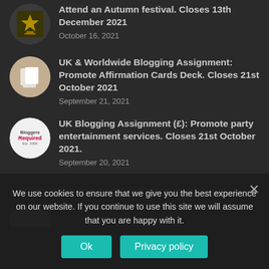Attend an Autumn festival. Closes 13th December 2021
October 16, 2021
UK & Worldwide Blogging Assignment: Promote Affirmation Cards Deck. Closes 21st October 2021
September 21, 2021
UK Blogging Assignment (£): Promote party entertainment services. Closes 21st October 2021.
September 20, 2021
Latest blogger outreach assignments
We use cookies to ensure that we give you the best experience on our website. If you continue to use this site we will assume that you are happy with it.